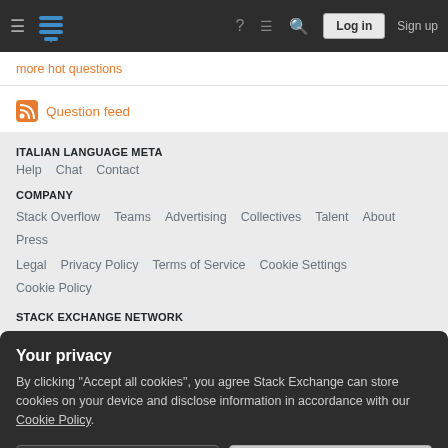Navigation bar with logo, icons, Log in and Sign up buttons
more hot questions
Question feed
ITALIAN LANGUAGE META
Help  Chat  Contact
COMPANY
Stack Overflow  Teams  Advertising  Collectives  Talent  About  Press
Legal  Privacy Policy  Terms of Service  Cookie Settings  Cookie Policy
STACK EXCHANGE NETWORK
Your privacy
By clicking "Accept all cookies", you agree Stack Exchange can store cookies on your device and disclose information in accordance with our Cookie Policy.
Accept all cookies  Customize settings